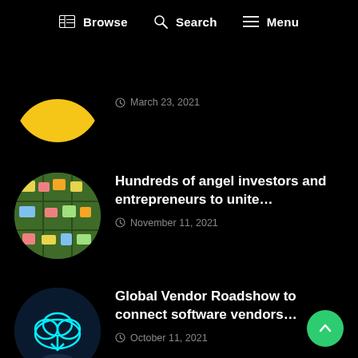Browse  Search  Menu
March 23, 2021
Hundreds of angel investors and entrepreneurs to unite…
November 11, 2021
Global Vendor Roadshow to connect software vendors…
October 11, 2021
Ingram Micro Cloud's Marketplace-as-a-Service